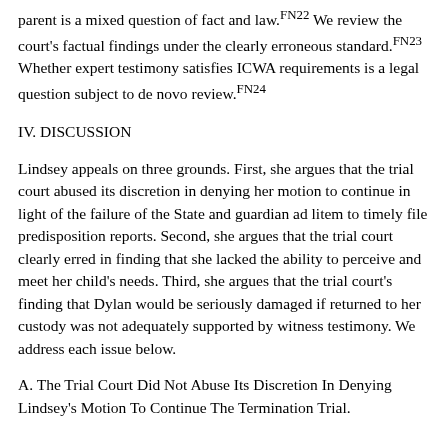parent is a mixed question of fact and law.FN22 We review the court's factual findings under the clearly erroneous standard.FN23 Whether expert testimony satisfies ICWA requirements is a legal question subject to de novo review.FN24
IV. DISCUSSION
Lindsey appeals on three grounds. First, she argues that the trial court abused its discretion in denying her motion to continue in light of the failure of the State and guardian ad litem to timely file predisposition reports. Second, she argues that the trial court clearly erred in finding that she lacked the ability to perceive and meet her child's needs. Third, she argues that the trial court's finding that Dylan would be seriously damaged if returned to her custody was not adequately supported by witness testimony. We address each issue below.
A. The Trial Court Did Not Abuse Its Discretion In Denying Lindsey's Motion To Continue The Termination Trial.